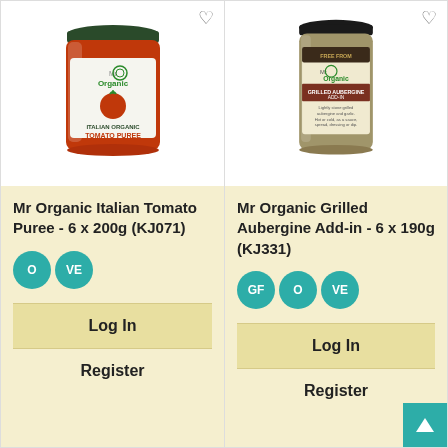[Figure (photo): Mr Organic Italian Tomato Puree jar product photo with wishlist heart icon]
Mr Organic Italian Tomato Puree - 6 x 200g (KJ071)
O VE (badges)
Log In
Register
[Figure (photo): Mr Organic Grilled Aubergine Add-in jar product photo with wishlist heart icon]
Mr Organic Grilled Aubergine Add-in - 6 x 190g (KJ331)
GF O VE (badges)
Log In
Register